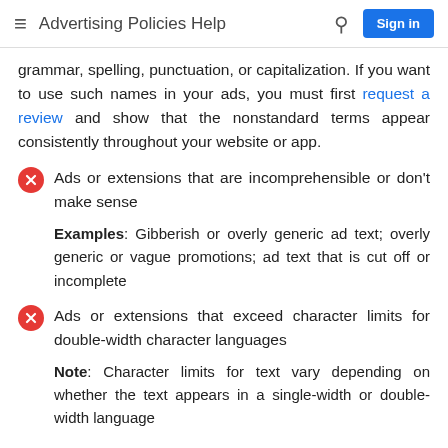Advertising Policies Help
grammar, spelling, punctuation, or capitalization. If you want to use such names in your ads, you must first request a review and show that the nonstandard terms appear consistently throughout your website or app.
Ads or extensions that are incomprehensible or don't make sense
Examples: Gibberish or overly generic ad text; overly generic or vague promotions; ad text that is cut off or incomplete
Ads or extensions that exceed character limits for double-width character languages
Note: Character limits for text vary depending on whether the text appears in a single-width or double-width language